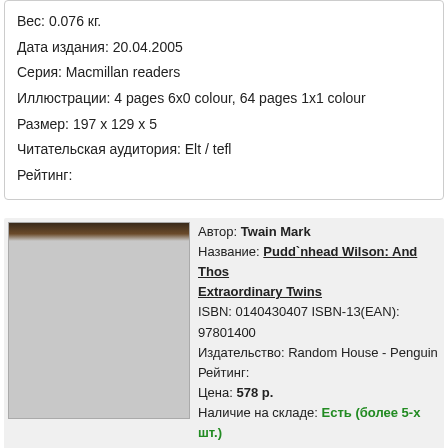Вес: 0.076 кг.
Дата издания: 20.04.2005
Серия: Macmillan readers
Иллюстрации: 4 pages 6x0 colour, 64 pages 1x1 colour
Размер: 197 x 129 x 5
Читательская аудитория: Elt / tefl
Рейтинг:
Автор: Twain Mark
Название: Pudd`nhead Wilson: And Those Extraordinary Twins
ISBN: 0140430407 ISBN-13(EAN): 97801404
Издательство: Random House - Penguin
Рейтинг:
Цена: 578 р.
Наличие на складе: Есть (более 5-х шт.)
Описание: Determined that her baby son To share her fate and remain in slavery, Roxy so exchanges him with his playmate Chambers her master. The two boys' lives in the quiet M of Dawson's Landing remain entwined even v take very different directions. The indulged T